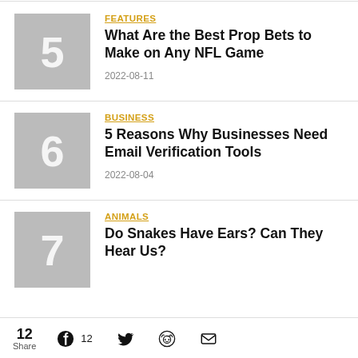5 — FEATURES — What Are the Best Prop Bets to Make on Any NFL Game — 2022-08-11
6 — BUSINESS — 5 Reasons Why Businesses Need Email Verification Tools — 2022-08-04
7 — ANIMALS — Do Snakes Have Ears? Can They Hear Us?
12 Share  12 (Facebook)  Twitter  Reddit  Email